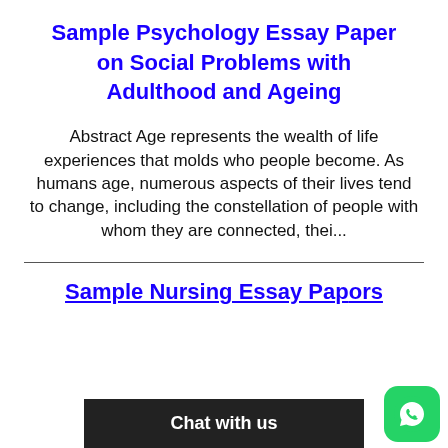Sample Psychology Essay Paper on Social Problems with Adulthood and Ageing
Abstract Age represents the wealth of life experiences that molds who people become. As humans age, numerous aspects of their lives tend to change, including the constellation of people with whom they are connected, thei...
Sample Nursing Essay Pap...ors
Chat with us